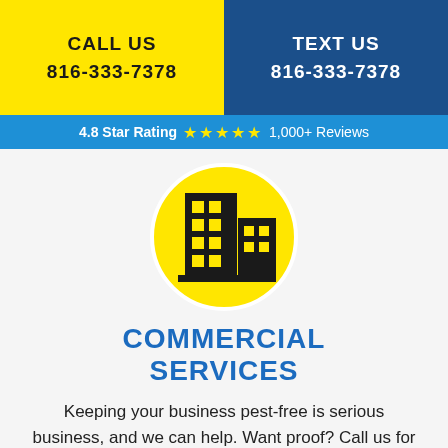CALL US 816-333-7378 | TEXT US 816-333-7378
4.8 Star Rating ★★★★★ 1,000+ Reviews
[Figure (illustration): Yellow circle with a black commercial building / office building icon in the center]
COMMERCIAL SERVICES
Keeping your business pest-free is serious business, and we can help. Want proof? Call us for references.